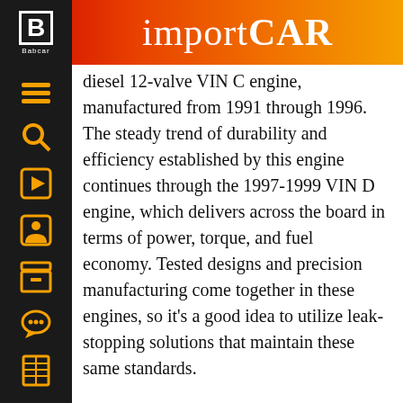importCAR
diesel 12-valve VIN C engine, manufactured from 1991 through 1996. The steady trend of durability and efficiency established by this engine continues through the 1997-1999 VIN D engine, which delivers across the board in terms of power, torque, and fuel economy. Tested designs and precision manufacturing come together in these engines, so it's a good idea to utilize leak-stopping solutions that maintain these same standards.
Just like its predecessors, the Dodge/Ram Cummins engine produced from 1998 through 2004 is extremely reliable; yet every engine needs maintenance. In the VIN 7, worn oil seals in the center hub rotating assembly may let lubricating oil into the intake and exhaust. When this occurs,